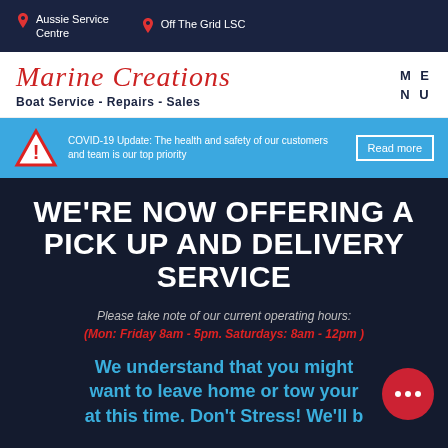Aussie Service Centre | Off The Grid LSC
Marine Creations — Boat Service - Repairs - Sales
COVID-19 Update: The health and safety of our customers and team is our top priority. Read more
WE'RE NOW OFFERING A PICK UP AND DELIVERY SERVICE
Please take note of our current operating hours: (Mon: Friday 8am - 5pm. Saturdays: 8am - 12pm)
We understand that you might want to leave home or tow your at this time. Don't Stress! We'll b